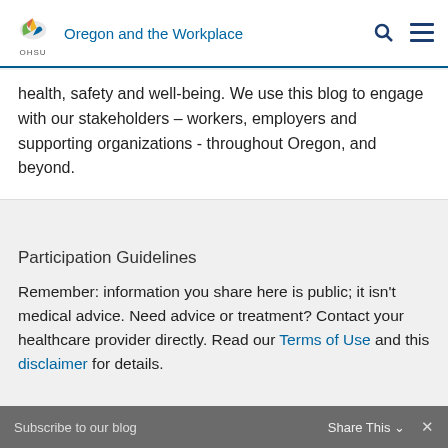Oregon and the Workplace
health, safety and well-being. We use this blog to engage with our stakeholders – workers, employers and supporting organizations - throughout Oregon, and beyond.
Participation Guidelines
Remember: information you share here is public; it isn't medical advice. Need advice or treatment? Contact your healthcare provider directly. Read our Terms of Use and this disclaimer for details.
Subscribe to our blog   Share This   ×